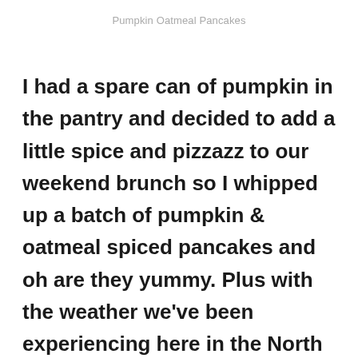Pumpkin Oatmeal Pancakes
I had a spare can of pumpkin in the pantry and decided to add a little spice and pizzazz to our weekend brunch so I whipped up a batch of pumpkin & oatmeal spiced pancakes and oh are they yummy. Plus with the weather we've been experiencing here in the North East, I'd say it feels a lot more like late autumn than